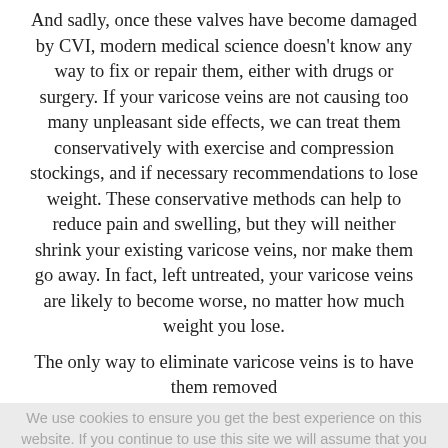And sadly, once these valves have become damaged by CVI, modern medical science doesn't know any way to fix or repair them, either with drugs or surgery. If your varicose veins are not causing too many unpleasant side effects, we can treat them conservatively with exercise and compression stockings, and if necessary recommendations to lose weight. These conservative methods can help to reduce pain and swelling, but they will neither shrink your existing varicose veins, nor make them go away. In fact, left untreated, your varicose veins are likely to become worse, no matter how much weight you lose.
The only way to eliminate varicose veins is to have them removed
We use cookies to ensure you get the best experience on this website. If you continue to use this site we will assume that you
Varicose veins can't be repaired, but they can be removed, and thanks to advances in medical science, they can be removed quickly, easily, and painlessly using minimally-